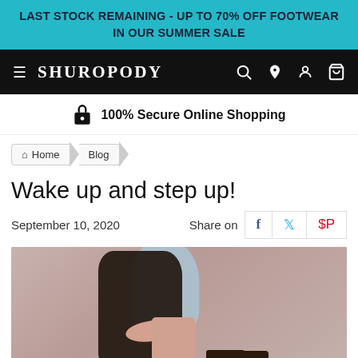LAST STOCK REMAINING - UP TO 70% OFF FOOTWEAR IN OUR SUMMER SALE
SHUROPODY
100% Secure Online Shopping
Home > Blog
Wake up and step up!
September 10, 2020   Share on
[Figure (photo): Woman seated wearing dark patterned sleeveless top, light blue scarf, and brown strappy sandals on a pink/beige background]